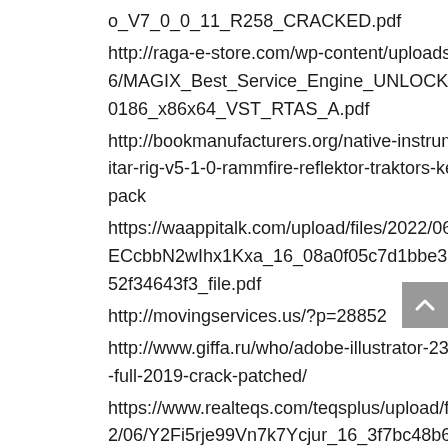o_V7_0_0_11_R258_CRACKED.pdf
http://raga-e-store.com/wp-content/uploads/2022/06/MAGIX_Best_Service_Engine_UNLOCKED_v210186_x86x64_VST_RTAS_A.pdf
http://bookmanufacturers.org/native-instruments-guitar-rig-v5-1-0-rammfire-reflektor-traktors-keygen-repack
https://waappitalk.com/upload/files/2022/06/W6d6fECcbbN2wIhx1Kxa_16_08a0f05c7d1bbe31909eaf52f34643f3_file.pdf
http://movingservices.us/?p=28852
http://www.giffa.ru/who/adobe-illustrator-23-0-0-530-full-2019-crack-patched/
https://www.realteqs.com/teqsplus/upload/files/2022/06/Y2Fi5rje99Vn7k7Ycjur_16_3f7bc48b647702f38f78ab26d174d47e_file.pdf
https://loskutbox.ru/wp-content/uploads/2022/06/saabgoo.pdf